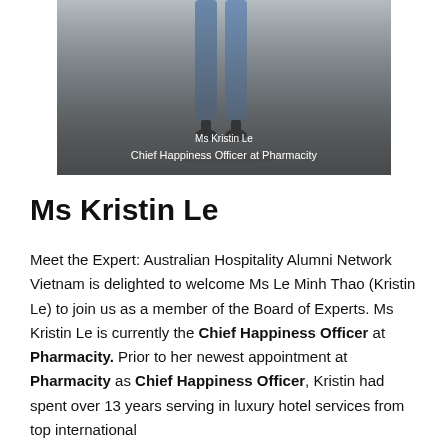[Figure (photo): Photo of Ms Kristin Le showing lower body in jeans and heels, with gradient overlay and name/title caption at bottom]
Ms Kristin Le
Chief Happiness Officer at Pharmacity
Ms Kristin Le
Meet the Expert: Australian Hospitality Alumni Network Vietnam is delighted to welcome Ms Le Minh Thao (Kristin Le) to join us as a member of the Board of Experts. Ms Kristin Le is currently the Chief Happiness Officer at Pharmacity. Prior to her newest appointment at Pharmacity as Chief Happiness Officer, Kristin had spent over 13 years serving in luxury hotel services from top international